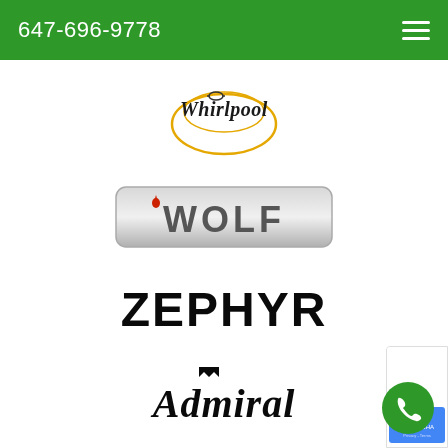647-696-9778
[Figure (logo): Whirlpool brand logo with oval swirl graphic in gold and the word Whirlpool in italic serif font]
[Figure (logo): Wolf brand logo with silver/gray rounded rectangle background and bold dark gray uppercase WOLF text with a small red flame above the W]
[Figure (logo): Zephyr brand logo with large bold black uppercase ZEPHYR text with a stylized R]
[Figure (logo): Admiral brand logo with bold italic black text Admiral and a small crown icon above the letter i]